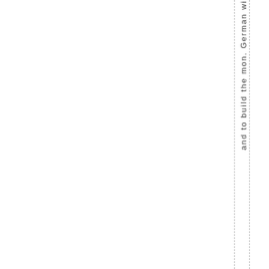and to build the mon. German wi